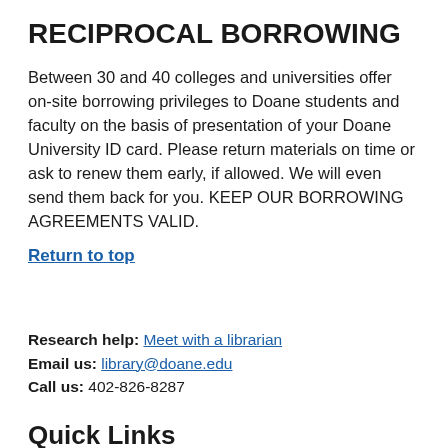RECIPROCAL BORROWING
Between 30 and 40 colleges and universities offer on-site borrowing privileges to Doane students and faculty on the basis of presentation of your Doane University ID card. Please return materials on time or ask to renew them early, if allowed. We will even send them back for you. KEEP OUR BORROWING AGREEMENTS VALID.
Return to top
Research help: Meet with a librarian
Email us: library@doane.edu
Call us: 402-826-8287
Quick Links